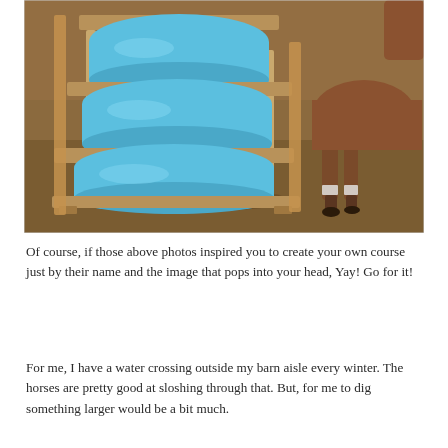[Figure (photo): A horse navigating a homemade obstacle made of blue plastic barrels set in a wooden frame resembling steps, inside a dirt-floored arena.]
Of course, if those above photos inspired you to create your own course just by their name and the image that pops into your head, Yay!  Go for it!
For me, I have a water crossing outside my barn aisle every winter.  The horses are pretty good at sloshing through that.  But, for me to dig something larger would be a bit much.